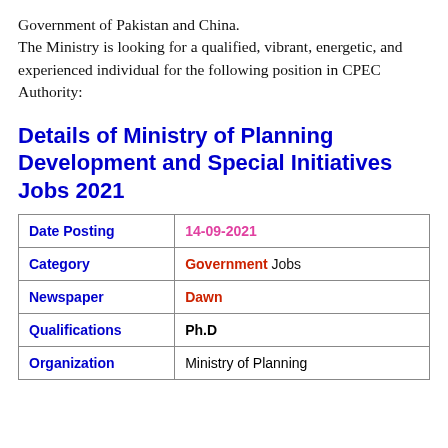Government of Pakistan and China.
The Ministry is looking for a qualified, vibrant, energetic, and experienced individual for the following position in CPEC Authority:
Details of Ministry of Planning Development and Special Initiatives Jobs 2021
|  |  |
| --- | --- |
| Date Posting | 14-09-2021 |
| Category | Government Jobs |
| Newspaper | Dawn |
| Qualifications | Ph.D |
| Organization | Ministry of Planning |